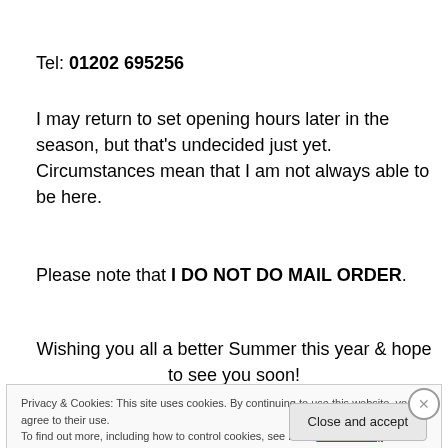Tel: 01202 695256
I may return to set opening hours later in the season, but that's undecided just yet. Circumstances mean that I am not always able to be here.
Please note that I DO NOT DO MAIL ORDER.
Wishing you all a better Summer this year & hope to see you soon!
Privacy & Cookies: This site uses cookies. By continuing to use this website, you agree to their use. To find out more, including how to control cookies, see here: Cookie Policy
Close and accept